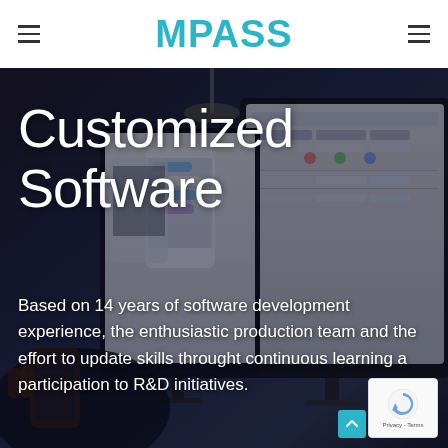MPASS
Customized Software
Based on 14 years of software development experience, the enthusiastic production team and the effort to update skills throught continuous learning and participation to R&D initiatives.
[Figure (screenshot): Hero background photo showing computer monitors with software/app UI wireframes on screen, person using phone in foreground, dark moody office setting]